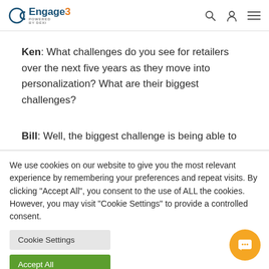Engage3 Powered by Dexi
Ken: What challenges do you see for retailers over the next five years as they move into personalization? What are their biggest challenges?
Bill: Well, the biggest challenge is being able to
We use cookies on our website to give you the most relevant experience by remembering your preferences and repeat visits. By clicking "Accept All", you consent to the use of ALL the cookies. However, you may visit "Cookie Settings" to provide a controlled consent.